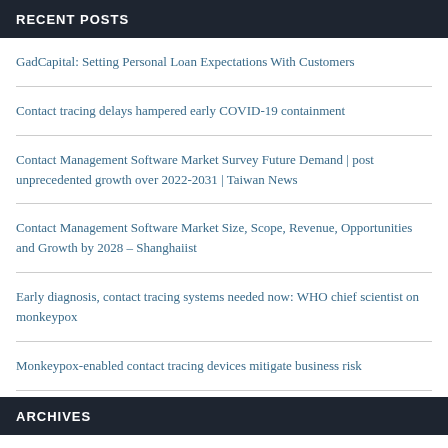RECENT POSTS
GadCapital: Setting Personal Loan Expectations With Customers
Contact tracing delays hampered early COVID-19 containment
Contact Management Software Market Survey Future Demand | post unprecedented growth over 2022-2031 | Taiwan News
Contact Management Software Market Size, Scope, Revenue, Opportunities and Growth by 2028 – Shanghaiist
Early diagnosis, contact tracing systems needed now: WHO chief scientist on monkeypox
Monkeypox-enabled contact tracing devices mitigate business risk
ARCHIVES